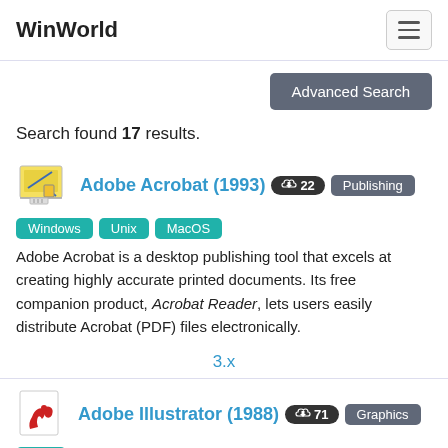WinWorld
Search found 17 results.
Adobe Acrobat (1993) ⬇22 Publishing Windows Unix MacOS
Adobe Acrobat is a desktop publishing tool that excels at creating highly accurate printed documents. Its free companion product, Acrobat Reader, lets users easily distribute Acrobat (PDF) files electronically.
3.x
Adobe Illustrator (1988) ⬇71 Graphics Unix